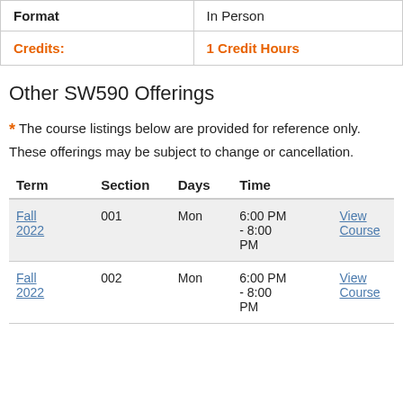| Format: | In Person |
| --- | --- |
| Credits: | 1 Credit Hours |
Other SW590 Offerings
* The course listings below are provided for reference only. These offerings may be subject to change or cancellation.
| Term | Section | Days | Time |  |
| --- | --- | --- | --- | --- |
| Fall 2022 | 001 | Mon | 6:00 PM - 8:00 PM | View Course |
| Fall 2022 | 002 | Mon | 6:00 PM - 8:00 PM | View Course |